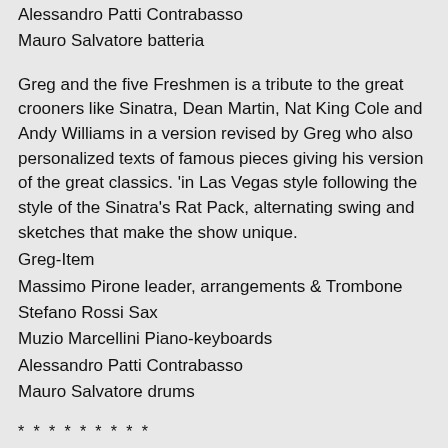Alessandro Patti Contrabasso
Mauro Salvatore batteria
Greg and the five Freshmen is a tribute to the great crooners like Sinatra, Dean Martin, Nat King Cole and Andy Williams in a version revised by Greg who also personalized texts of famous pieces giving his version of the great classics. 'in Las Vegas style following the style of the Sinatra's Rat Pack, alternating swing and sketches that make the show unique.
Greg-Item
Massimo Pirone leader, arrangements & Trombone
Stefano Rossi Sax
Muzio Marcellini Piano-keyboards
Alessandro Patti Contrabasso
Mauro Salvatore drums
* * * * * * * * *
MENU DEGUSTAZIONE PROPOSTO